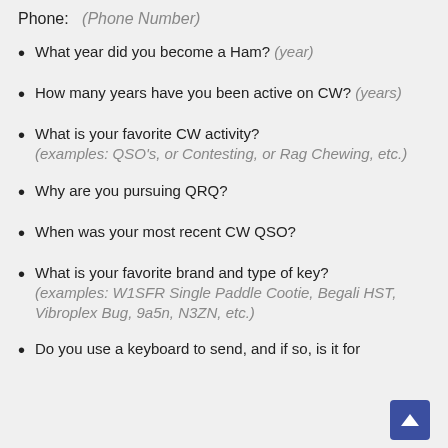Phone:   (Phone Number)
What year did you become a Ham? (year)
How many years have you been active on CW? (years)
What is your favorite CW activity? (examples: QSO's, or Contesting, or Rag Chewing, etc.)
Why are you pursuing QRQ?
When was your most recent CW QSO?
What is your favorite brand and type of key? (examples: W1SFR Single Paddle Cootie, Begali HST, Vibroplex Bug, 9a5n, N3ZN, etc.)
Do you use a keyboard to send, and if so, is it for